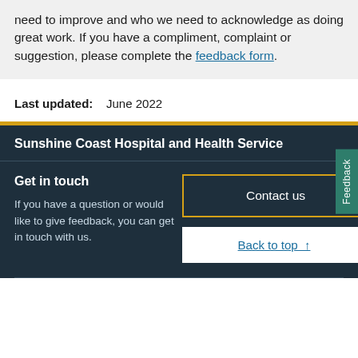need to improve and who we need to acknowledge as doing great work. If you have a compliment, complaint or suggestion, please complete the feedback form.
Last updated: June 2022
Sunshine Coast Hospital and Health Service
Get in touch
If you have a question or would like to give feedback, you can get in touch with us.
Contact us
Back to top ↑